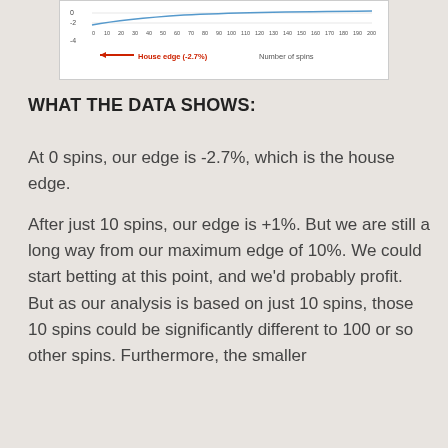[Figure (continuous-plot): Partial view of a line chart showing edge percentage vs number of spins (0 to 210). A red arrow points left labeled 'House edge (-2.7%)' and x-axis label reads 'Number of spins'.]
WHAT THE DATA SHOWS:
At 0 spins, our edge is -2.7%, which is the house edge.
After just 10 spins, our edge is +1%. But we are still a long way from our maximum edge of 10%. We could start betting at this point, and we'd probably profit. But as our analysis is based on just 10 spins, those 10 spins could be significantly different to 100 or so other spins. Furthermore, the smaller